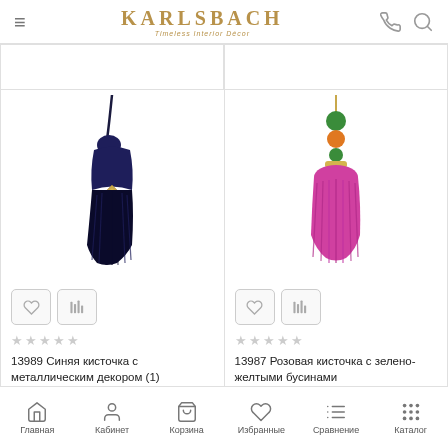KARLSBACH – Timeless Interior Decor
[Figure (photo): Dark navy blue tassel with gold metallic square ornament decoration]
[Figure (photo): Pink/magenta tassel with green and orange beads on gold chain at top]
13989 Синяя кисточка с металлическим декором (1)
13987 Розовая кисточка с зелено-желтыми бусинами
Главная | Кабинет | Корзина | Избранные | Сравнение | Каталог